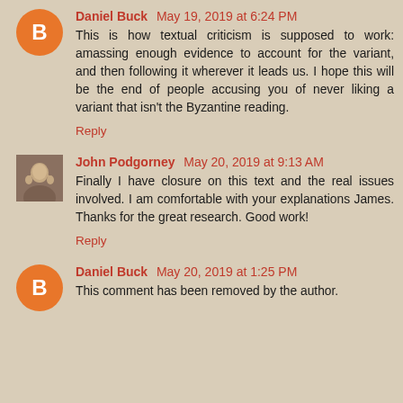Daniel Buck May 19, 2019 at 6:24 PM — This is how textual criticism is supposed to work: amassing enough evidence to account for the variant, and then following it wherever it leads us. I hope this will be the end of people accusing you of never liking a variant that isn't the Byzantine reading.
Reply
John Podgorney May 20, 2019 at 9:13 AM — Finally I have closure on this text and the real issues involved. I am comfortable with your explanations James. Thanks for the great research. Good work!
Reply
Daniel Buck May 20, 2019 at 1:25 PM — This comment has been removed by the author.